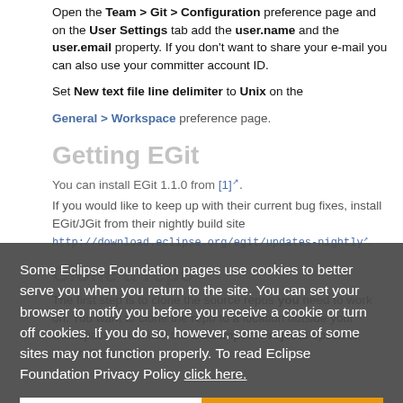Open the Team > Git > Configuration preference page and on the User Settings tab add the user.name and the user.email property. If you don't want to share your e-mail you can also use your committer account ID.
Set New text file line delimiter to Unix on the General > Workspace preference page.
Getting EGit
You can install EGit 1.1.0 from [1].
If you would like to keep up with their current bug fixes, install EGit/JGit from their nightly build site http://download.eclipse.org/egit/updates-nightly.
Clone a repo
The first step is to clone the source repos you need to work on. You want to clone the repo to a location outside your workspace. Then use the EGit Import Projects option to import the projects.
Some Eclipse Foundation pages use cookies to better serve you when you return to the site. You can set your browser to notify you before you receive a cookie or turn off cookies. If you do so, however, some areas of some sites may not function properly. To read Eclipse Foundation Privacy Policy click here.